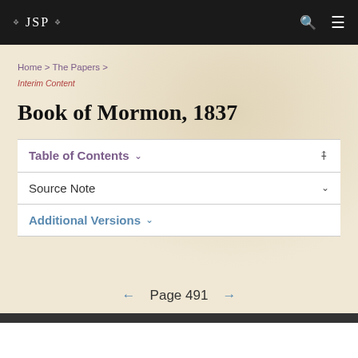❖ JSP ❖
Home > The Papers >
Interim Content
Book of Mormon, 1837
Table of Contents
Source Note
Additional Versions
← Page 491 →